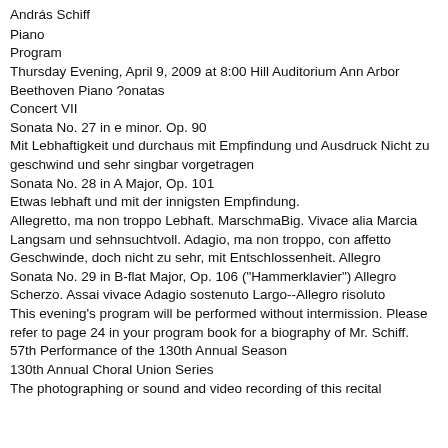András Schiff
Piano
Program
Thursday Evening, April 9, 2009 at 8:00 Hill Auditorium Ann Arbor
Beethoven Piano ?onatas
Concert VII
Sonata No. 27 in e minor. Op. 90
Mit Lebhaftigkeit und durchaus mit Empfindung und Ausdruck Nicht zu geschwind und sehr singbar vorgetragen
Sonata No. 28 in A Major, Op. 101
Etwas lebhaft und mit der innigsten Empfindung.
Allegretto, ma non troppo Lebhaft. MarschmaBig. Vivace alia Marcia Langsam und sehnsuchtvoll. Adagio, ma non troppo, con affetto Geschwinde, doch nicht zu sehr, mit Entschlossenheit. Allegro
Sonata No. 29 in B-flat Major, Op. 106 ("Hammerklavier") Allegro Scherzo. Assai vivace Adagio sostenuto Largo--Allegro risoluto
This evening's program will be performed without intermission. Please refer to page 24 in your program book for a biography of Mr. Schiff.
57th Performance of the 130th Annual Season
130th Annual Choral Union Series
The photographing or sound and video recording of this recital